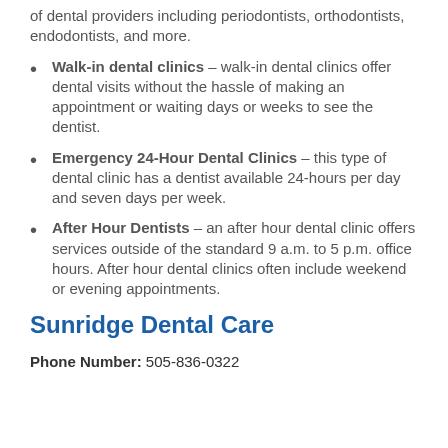of dental providers including periodontists, orthodontists, endodontists, and more.
Walk-in dental clinics – walk-in dental clinics offer dental visits without the hassle of making an appointment or waiting days or weeks to see the dentist.
Emergency 24-Hour Dental Clinics – this type of dental clinic has a dentist available 24-hours per day and seven days per week.
After Hour Dentists – an after hour dental clinic offers services outside of the standard 9 a.m. to 5 p.m. office hours. After hour dental clinics often include weekend or evening appointments.
Sunridge Dental Care
Phone Number: 505-836-0322